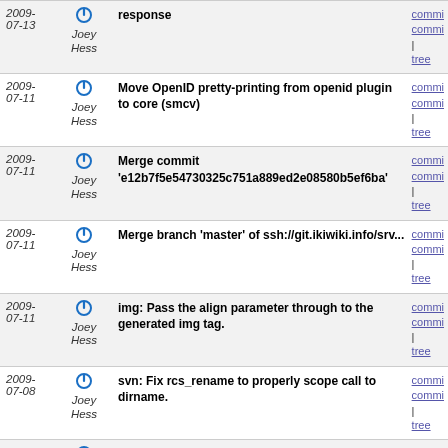| Date | Author | Message | Links |
| --- | --- | --- | --- |
| 2009-07-13 | Joey Hess | response | commit | commit | tree |
| 2009-07-11 | Joey Hess | Move OpenID pretty-printing from openid plugin to core (smcv) | commit | commit | tree |
| 2009-07-11 | Joey Hess | Merge commit 'e12b7f5e54730325c751a889ed2e08580b5ef6ba' | commit | commit | tree |
| 2009-07-11 | Joey Hess | Merge branch 'master' of ssh://git.ikiwiki.info/srv... | commit | commit | tree |
| 2009-07-11 | Joey Hess | img: Pass the align parameter through to the generated img tag. | commit | commit | tree |
| 2009-07-08 | Joey Hess | svn: Fix rcs_rename to properly scope call to dirname. | commit | commit | tree |
| 2009-07-08 | Joey Hess | response | commit | commit | tree |
| 2009-07-07 | Joey Hess | add news item for ikiwiki 3.1415 | commit | commit | tree |
| 2009-07-07 | Joey Hess | releasing version 3.1415 | commit | commit | tree |